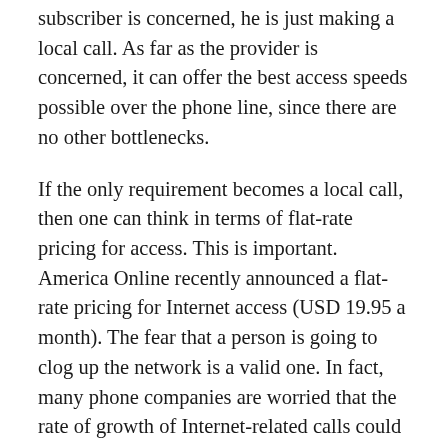subscriber is concerned, he is just making a local call. As far as the provider is concerned, it can offer the best access speeds possible over the phone line, since there are no other bottlenecks.
If the only requirement becomes a local call, then one can think in terms of flat-rate pricing for access. This is important. America Online recently announced a flat-rate pricing for Internet access (USD 19.95 a month). The fear that a person is going to clog up the network is a valid one. In fact, many phone companies are worried that the rate of growth of Internet-related calls could result in gridlock, since the average Internet call lasts for 20 minutes as compared to 6 minutes for a voice call. But flat-rate pricing encourages usage. Nothing is more valuable than a person’s time. Also, in India, it is not trivial to get an extra phone line just for Internet access. In the initial stages, flat-rate pricing